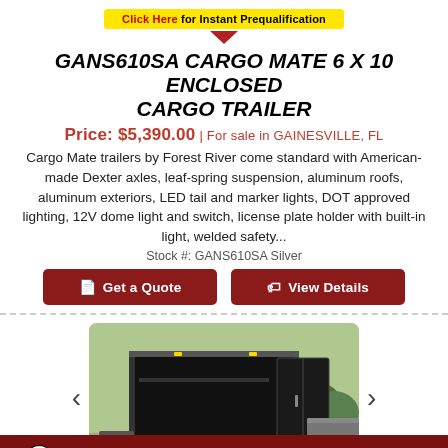[Figure (infographic): Yellow banner button saying 'Click Here for Instant Prequalification' with a red downward-pointing arrow below it]
GANS610SA CARGO MATE 6 X 10 ENCLOSED CARGO TRAILER
Price: $5,390.00 | For sale in GAINESVILLE, FL
Cargo Mate trailers by Forest River come standard with American-made Dexter axles, leaf-spring suspension, aluminum roofs, aluminum exteriors, LED tail and marker lights, DOT approved lighting, 12V dome light and switch, license plate holder with built-in light, welded safety...
Stock #: GANS610SA Silver
[Figure (other): Two dark red rounded rectangle buttons side by side: 'Get a Quote' and 'View Details']
[Figure (photo): Photo of a black enclosed cargo trailer in a parking lot with trees in background, with navigation arrows on left and right sides]
TEXT US